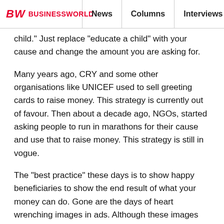BW BUSINESSWORLD | News | Columns | Interviews | BW
child." Just replace “educate a child” with your cause and change the amount you are asking for.
Many years ago, CRY and some other organisations like UNICEF used to sell greeting cards to raise money. This strategy is currently out of favour. Then about a decade ago, NGOs, started asking people to run in marathons for their cause and use that to raise money. This strategy is still in vogue.
The “best practice” these days is to show happy beneficiaries to show the end result of what your money can do. Gone are the days of heart wrenching images in ads. Although these images aren’t gone forever. We can still encounter them on social media e.g. the image of the little boy crying next to the body of his dead sewer cleaner father. We see them in cases where money has to be raised quickly. Kerala floods.
A common thread among all communications that raise money is that it tries to evoke pity for others to encourage you to be generous. Pity is, of course, a valid
[Figure (screenshot): Video ad overlay with close button (x), 'Ads by eRG' label, and a circular play button on a dark background.]